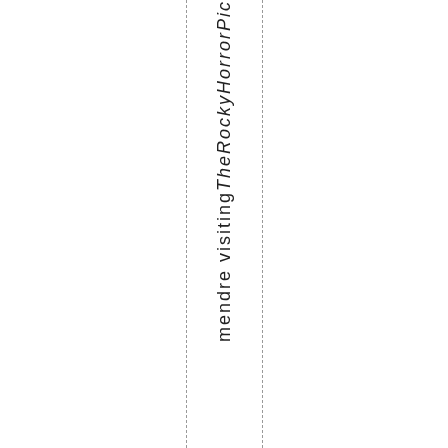mendrevisitingTheRockyHorrorPic